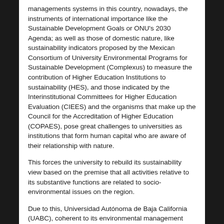managements systems in this country, nowadays, the instruments of international importance like the Sustainable Development Goals or ONU's 2030 Agenda; as well as those of domestic nature, like sustainability indicators proposed by the Mexican Consortium of University Environmental Programs for Sustainable Development (Complexus) to measure the contribution of Higher Education Institutions to sustainability (HES), and those indicated by the Interinstitutional Committees for Higher Education Evaluation (CIEES) and the organisms that make up the Council for the Accreditation of Higher Education (COPAES), pose great challenges to universities as institutions that form human capital who are aware of their relationship with nature.
This forces the university to rebuild its sustainability view based on the premise that all activities relative to its substantive functions are related to socio-environmental issues on the region.
Due to this, Universidad Autónoma de Baja California (UABC), coherent to its environmental management institutional, defined in the institutional...